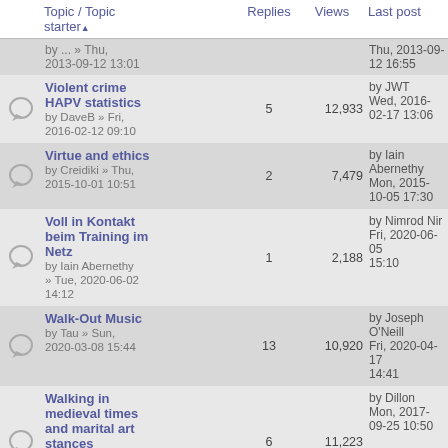|  | Topic / Topic starter ▲ | Replies | Views | Last post |
| --- | --- | --- | --- | --- |
|  | by ... » Thu, 2013-09-12 13:01 |  |  | Thu, 2013-09-12 16:55 |
| [icon] | Violent crime HAPV statistics
by DaveB » Fri, 2016-02-12 09:10 | 5 | 12,933 | by JWT
Wed, 2016-02-17 13:06 |
| [icon] | Virtue and ethics
by Creidiki » Thu, 2015-10-01 10:51 | 2 | 7,479 | by Iain Abernethy
Mon, 2015-10-05 17:30 |
| [icon] | Voll in Kontakt beim Training im Netz
by Iain Abernethy » Tue, 2020-06-02 14:12 | 1 | 2,188 | by Nimrod Nir
Fri, 2020-06-05 15:10 |
| [icon] | Walk-Out Music
by Tau » Sun, 2020-03-08 15:44 | 13 | 10,920 | by Joseph O'Neill
Fri, 2020-04-17 14:41 |
| [icon] | Walking in medieval times and marital art stances
by Mulberry4000 » Sun, 2017-09-17 22:12 | 6 | 11,223 | by Dillon
Mon, 2017-09-25 10:50 |
| [icon] | Wankan Kata | 2 | 2,671 | by |